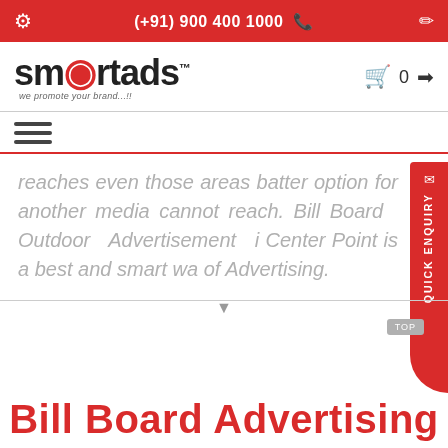(+91) 900 400 1000
[Figure (logo): SmartAds logo with tagline 'we promote your brand...!!']
reaches even those areas batter option for another media cannot reach. Bill Board Outdoor Advertisement i Center Point is a best and smart wa of Advertising.
Bill Board Advertising